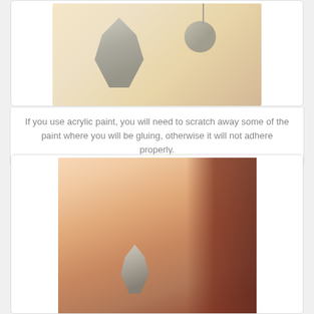[Figure (photo): Photo of two rock/crystal earring components with earring pins, shown on a cream/beige background. One piece is an arrowhead/crystal shape, the other is a rounded cabochon shape.]
If you use acrylic paint, you will need to scratch away some of the paint where you will be gluing, otherwise it will not adhere properly.
[Figure (photo): Close-up photo of a person's ear wearing a crystal/rock earring. The person has long dark reddish-brown hair. The earring appears to be a silver or clear crystal arrowhead shape.]